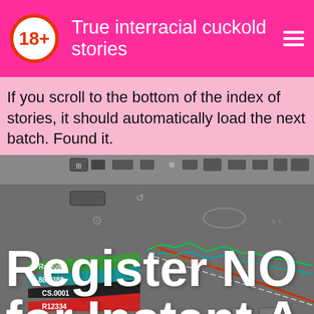True interracial cuckold stories
If you scroll to the bottom of the index of stories, it should automatically load the next batch. Found it.
[Figure (screenshot): A financial trading chart screenshot showing multiple overlapping line indicators, toolbar icons, colored arrow labels on the left side (green, teal, black, red), and a large white 'Register NO for InstantA' overlay text in the lower portion.]